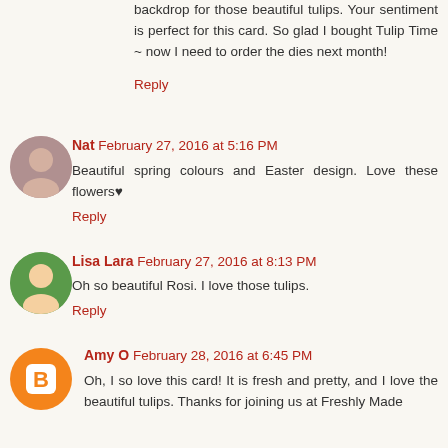backdrop for those beautiful tulips. Your sentiment is perfect for this card. So glad I bought Tulip Time ~ now I need to order the dies next month!
Reply
Nat  February 27, 2016 at 5:16 PM
Beautiful spring colours and Easter design. Love these flowers♥
Reply
Lisa Lara  February 27, 2016 at 8:13 PM
Oh so beautiful Rosi. I love those tulips.
Reply
Amy O  February 28, 2016 at 6:45 PM
Oh, I so love this card! It is fresh and pretty, and I love the beautiful tulips. Thanks for joining us at Freshly Made